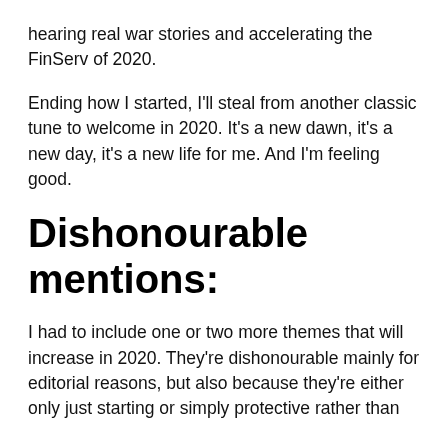hearing real war stories and accelerating the FinServ of 2020.
Ending how I started, I'll steal from another classic tune to welcome in 2020. It's a new dawn, it's a new day, it's a new life for me. And I'm feeling good.
Dishonourable mentions:
I had to include one or two more themes that will increase in 2020. They're dishonourable mainly for editorial reasons, but also because they're either only just starting or simply protective rather than